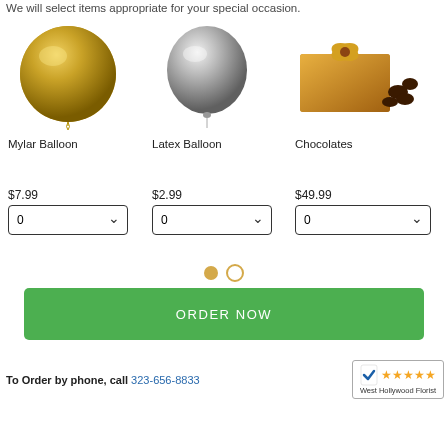We will select items appropriate for your special occasion.
[Figure (illustration): Gold mylar round balloon]
[Figure (illustration): Silver latex balloon]
[Figure (illustration): Gold box of chocolates with bow and chocolates beside it]
Mylar Balloon
Latex Balloon
Chocolates
$7.99
$2.99
$49.99
ORDER NOW
To Order by phone, call 323-656-8833
[Figure (logo): West Hollywood Florist badge with checkmark and 5 stars]